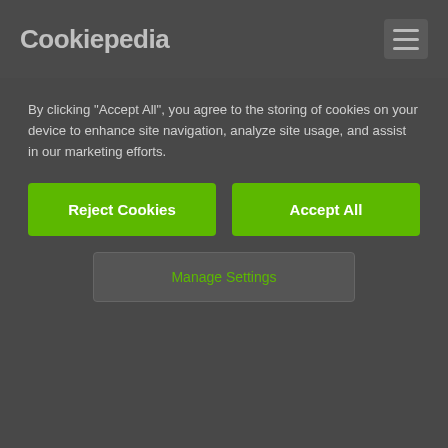Cookiepedia
By clicking “Accept All”, you agree to the storing of cookies on your device to enhance site navigation, analyze site usage, and assist in our marketing efforts.
[Figure (screenshot): Cookie consent banner with Reject Cookies and Accept All green buttons, and a Manage Settings outlined button below]
acegroup.com
cam4.com
cam4.com
cognizant.com
de-dealer1.de.sep.local
efi.no
getyourguide.com
macmillan.tributefunds.com
roku.com
sandown.co.uk
som.cranfield.ac.uk